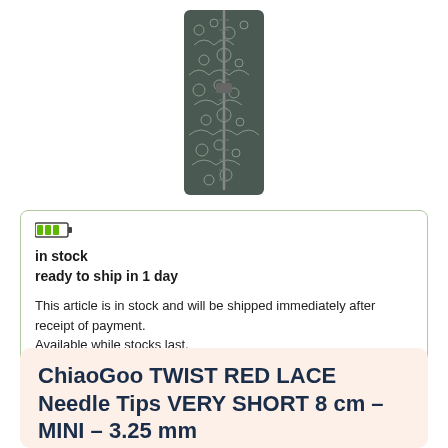[Figure (photo): A dark grey patterned zipper case/pouch for knitting needle tips, with a white lace-like paisley/floral pattern printed on the fabric. The pouch is tall and narrow with a zipper running down the center.]
in stock
ready to ship in 1 day

This article is in stock and will be shipped immediately after receipt of payment.
Available while stocks last.
ChiaoGoo TWIST RED LACE Needle Tips VERY SHORT 8 cm – MINI – 3.25 mm